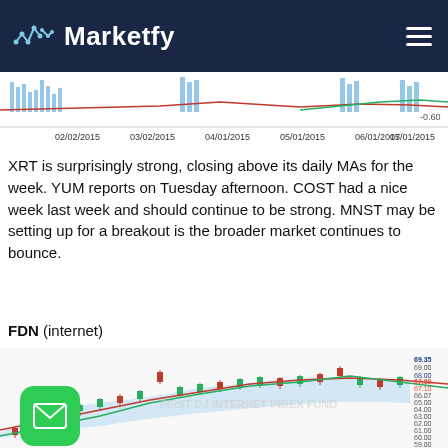Marketfy
[Figure (continuous-plot): Top financial chart showing candlestick/volume data with date axis from 02/02/2015 to 07/01/2015, with -0.60 label on right axis]
XRT is surprisingly strong, closing above its daily MAs for the week. YUM reports on Tuesday afternoon. COST had a nice week last week and should continue to be strong. MNST may be setting up for a breakout is the broader market continues to bounce.
FDN (internet)
[Figure (continuous-plot): FDN stock chart (First Trust DJ Internet Index Fund) with candlestick data, Bollinger Bands (blue shaded area), and moving averages (red and green lines). Price levels on right axis: 69.35, 69.00, 68.00, 67.69, 67.10, 66.07, 65.00, 64.00, 63.00, 62.00, 61.00, 60.00, 59.00, 55.00. Volume bar at bottom showing 1.80M and 800.00. Email icon button overlaid at bottom left.]